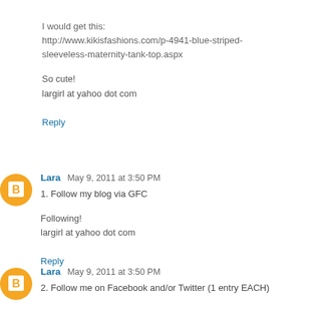I would get this: http://www.kikisfashions.com/p-4941-blue-striped-sleeveless-maternity-tank-top.aspx

So cute!
largirl at yahoo dot com
Reply
Lara May 9, 2011 at 3:50 PM
1. Follow my blog via GFC
Following!
largirl at yahoo dot com
Reply
Lara May 9, 2011 at 3:50 PM
2. Follow me on Facebook and/or Twitter (1 entry EACH)